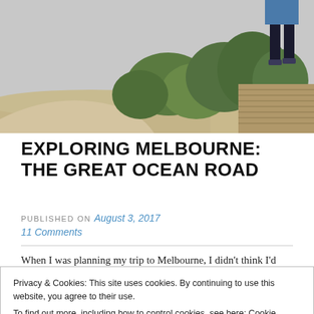[Figure (photo): Outdoor scene with sandy path, green grassy plants, and wooden boardwalk. A person's legs visible at upper right standing on boardwalk.]
EXPLORING MELBOURNE: THE GREAT OCEAN ROAD
PUBLISHED ON August 3, 2017
11 Comments
When I was planning my trip to Melbourne, I didn't think I'd
Privacy & Cookies: This site uses cookies. By continuing to use this website, you agree to their use.
To find out more, including how to control cookies, see here: Cookie Policy
Close and accept